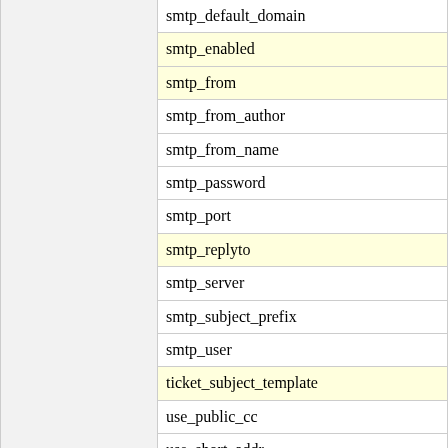|  |  |
| --- | --- |
|  | smtp_default_domain |
|  | smtp_enabled |
|  | smtp_from |
|  | smtp_from_author |
|  | smtp_from_name |
|  | smtp_password |
|  | smtp_port |
|  | smtp_replyto |
|  | smtp_server |
|  | smtp_subject_prefix |
|  | smtp_user |
|  | ticket_subject_template |
|  | use_public_cc |
|  | use_short_addr |
|  | use_tls |
| project | admin |
|  | admin_trac_url |
|  | descr |
|  | footer |
|  | icon |